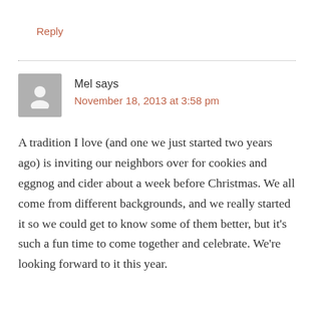Reply
Mel says
November 18, 2013 at 3:58 pm
A tradition I love (and one we just started two years ago) is inviting our neighbors over for cookies and eggnog and cider about a week before Christmas. We all come from different backgrounds, and we really started it so we could get to know some of them better, but it's such a fun time to come together and celebrate. We're looking forward to it this year.